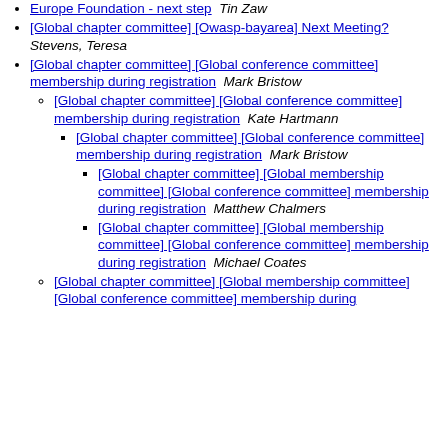Europe Foundation - next step  Tin Zaw
[Global chapter committee] [Owasp-bayarea] Next Meeting?  Stevens, Teresa
[Global chapter committee] [Global conference committee] membership during registration  Mark Bristow
[Global chapter committee] [Global conference committee] membership during registration  Kate Hartmann
[Global chapter committee] [Global conference committee] membership during registration  Mark Bristow
[Global chapter committee] [Global membership committee] [Global conference committee] membership during registration  Matthew Chalmers
[Global chapter committee] [Global membership committee] [Global conference committee] membership during registration  Michael Coates
[Global chapter committee] [Global membership committee] [Global conference committee] membership during